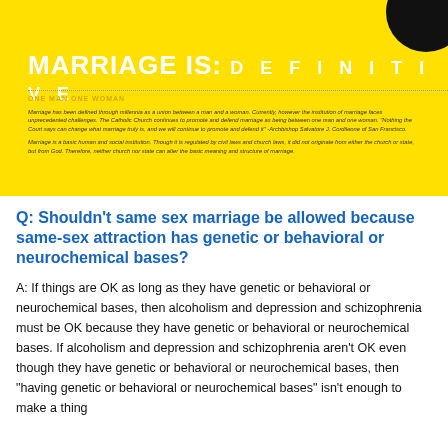MARRIAGE IS: DEFINITIVE
ONE MAN ONE WOMAN
Marriage has been defined through millennia as a union between a man and a woman. Currently, however the institution of marriage faces unprecedented challenges. The Catholic Church continues to promote and defend marriage as being between one man and one woman. "Nothing the Court says can change what marriage truly is, and we will continue to promote and defend it" -Archbishop Salvatore J. Cordileone of San Francisco.
Marriage is a basic human and social institution. Though it is regulated by civil laws and church laws, it did not originate from either the church or state, but from God. Therefore, neither church nor state can alter the basic meaning and structure of marriage.
Q: Shouldn’t same sex marriage be allowed because same-sex attraction has genetic or behavioral or neurochemical bases?
A: If things are OK as long as they have genetic or behavioral or neurochemical bases, then alcoholism and depression and schizophrenia must be OK because they have genetic or behavioral or neurochemical bases. If alcoholism and depression and schizophrenia aren’t OK even though they have genetic or behavioral or neurochemical bases, then “having genetic or behavioral or neurochemical bases” isn’t enough to make a thing...